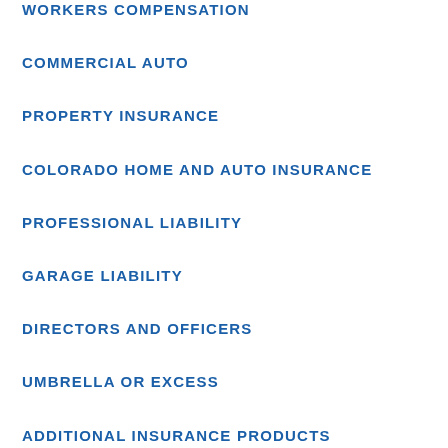WORKERS COMPENSATION
COMMERCIAL AUTO
PROPERTY INSURANCE
COLORADO HOME AND AUTO INSURANCE
PROFESSIONAL LIABILITY
GARAGE LIABILITY
DIRECTORS AND OFFICERS
UMBRELLA OR EXCESS
ADDITIONAL INSURANCE PRODUCTS